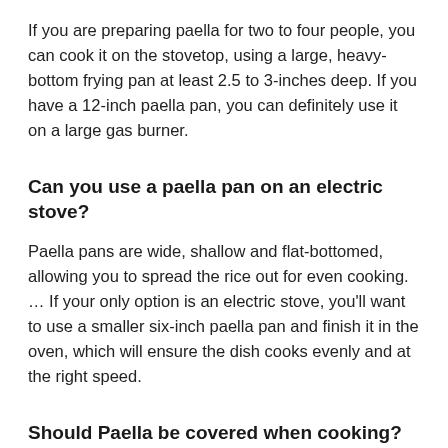If you are preparing paella for two to four people, you can cook it on the stovetop, using a large, heavy-bottom frying pan at least 2.5 to 3-inches deep. If you have a 12-inch paella pan, you can definitely use it on a large gas burner.
Can you use a paella pan on an electric stove?
Paella pans are wide, shallow and flat-bottomed, allowing you to spread the rice out for even cooking. … If your only option is an electric stove, you'll want to use a smaller six-inch paella pan and finish it in the oven, which will ensure the dish cooks evenly and at the right speed.
Should Paella be covered when cooking?
Whatever paella you make, it should use short- or medium-grain rice, which should be cooked uncovered in a flavorful stock. … You can get much of the cooking done in advance, and the finished dish can sit for some time before you serve it.